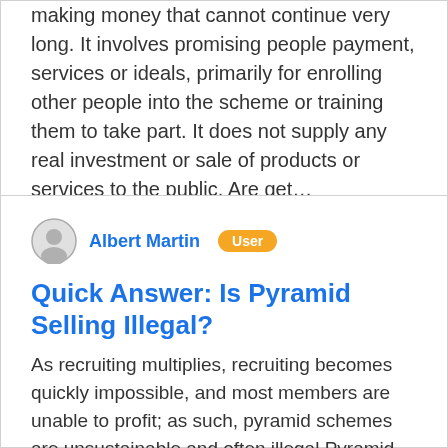making money that cannot continue very long. It involves promising people payment, services or ideals, primarily for enrolling other people into the scheme or training them to take part. It does not supply any real investment or sale of products or services to the public. Are get…
Albert Martin  User
Quick Answer: Is Pyramid Selling Illegal?
As recruiting multiplies, recruiting becomes quickly impossible, and most members are unable to profit; as such, pyramid schemes are unsustainable and often illegal.Pyramid schemes have existed for at least a century in different guises.Some multi-level marketing plans have been classified as